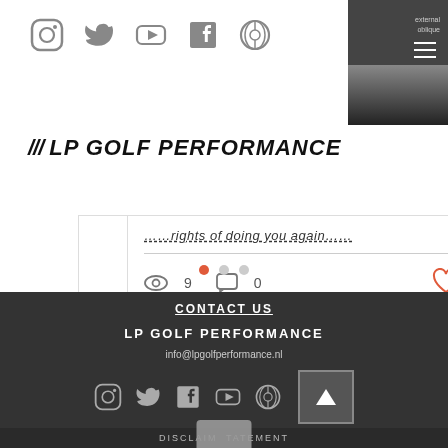[Figure (screenshot): Social media icons row: Instagram, Twitter, YouTube, Facebook, Spotify]
[Figure (screenshot): Navigation menu snippet in dark overlay at top right with hamburger lines and text 'external oblique']
/// LP GOLF PERFORMANCE
[Figure (screenshot): Blog card showing truncated italic title text '……rights of doing you again…', horizontal divider, view count (eye icon) 9, comment icon 0, heart icon]
[Figure (screenshot): Carousel navigation dots - one orange/active, two grey]
CONTACT US
LP GOLF PERFORMANCE
info@lpgolfperformance.nl
[Figure (screenshot): Footer social media icons: Instagram, Twitter, Facebook, YouTube, Spotify]
DISCLAIMER  STATEMENT